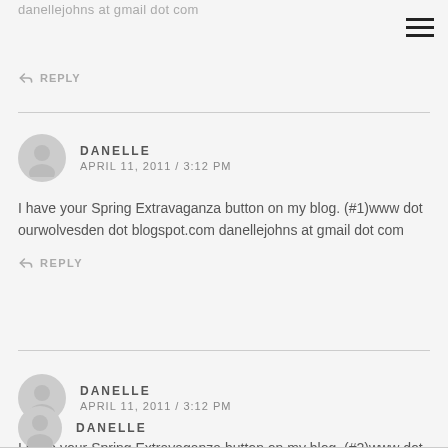danellejohns at gmail dot com
↩ REPLY
DANELLE
APRIL 11, 2011 / 3:12 PM
I have your Spring Extravaganza button on my blog. (#1)www dot ourwolvesden dot blogspot.com danellejohns at gmail dot com
↩ REPLY
DANELLE
APRIL 11, 2011 / 3:12 PM
I have your Spring Extravaganza button on my blog. (#2)www dot ourwolvesden dot blogspot.com danellejohns at gmail dot com
↩ REPLY
DANELLE